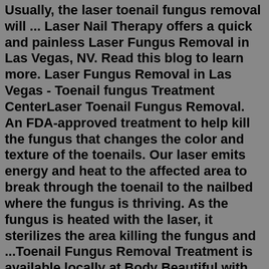Usually, the laser toenail fungus removal will ... Laser Nail Therapy offers a quick and painless Laser Fungus Removal in Las Vegas, NV. Read this blog to learn more. Laser Fungus Removal in Las Vegas - Toenail fungus Treatment CenterLaser Toenail Fungus Removal. An FDA-approved treatment to help kill the fungus that changes the color and texture of the toenails. Our laser emits energy and heat to the affected area to break through the toenail to the nailbed where the fungus is thriving. As the fungus is heated with the laser, it sterilizes the area killing the fungus and ...Toenail Fungus Removal Treatment is available locally at Body Beautiful with No downtime, affordable and effective for Toenail Fungus and Warts. ... Laser Toenail Fungus Removal: 3 sessions & Includes topical medicine : Pricing Regular: 5 toes (One foot) 3 sessions: $349: 10 toes (Both feet) 3 sessions: $549: Fingers: Pending Free Consultation:To schedule an appointment for your toenail fungus diagnosis and to learn about laser treatment, please call our office at (919) 850-9111. We